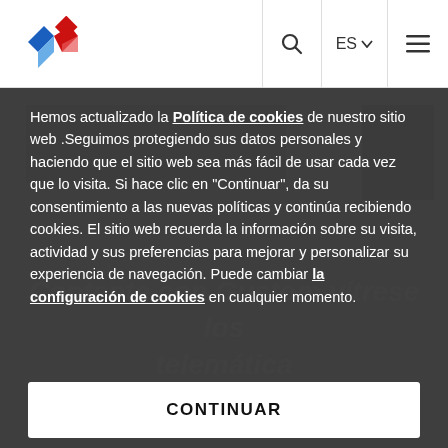[Figure (logo): Company logo with blue and red diamond shapes]
Hemos actualizado la Política de cookies de nuestro sitio web .Seguimos protegiendo sus datos personales y haciendo que el sitio web sea más fácil de usar cada vez que lo visita. Si hace clic en "Continuar", da su consentimiento a las nuevas políticas y continúa recibiendo cookies. El sitio web recuerda la información sobre su visita, actividad y sus preferencias para mejorar y personalizar su experiencia de navegación. Puede cambiar la configuración de cookies en cualquier momento.
CONTINUAR